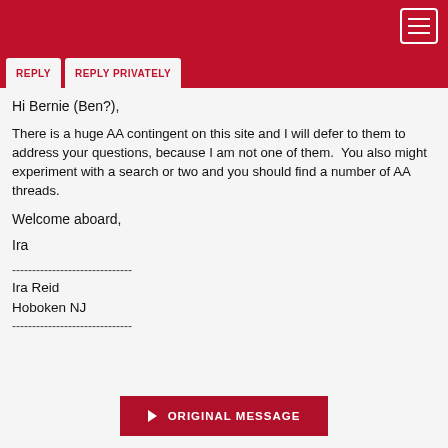REPLY   REPLY PRIVATELY
Hi Bernie (Ben?),
There is a huge AA contingent on this site and I will defer to them to address your questions, because I am not one of them.  You also might experiment with a search or two and you should find a number of AA threads.
Welcome aboard,
Ira
------------------------------
Ira Reid
Hoboken NJ
------------------------------
▶ ORIGINAL MESSAGE